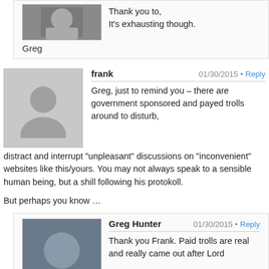Thank you to,
It's exhausting though.
Greg
frank  01/30/2015  Reply
Greg, just to remind you – there are government sponsored and payed trolls around to disturb, distract and interrupt “unpleasant” discussions on “inconvenient” websites like this/yours. You may not always speak to a sensible human being, but a shill following his protokoll.

But perhaps you know …
Greg Hunter  01/30/2015  Reply
Thank you Frank. Paid trolls are real and really came out after Lord Monckton. That's how we know he is hitting a nerve.